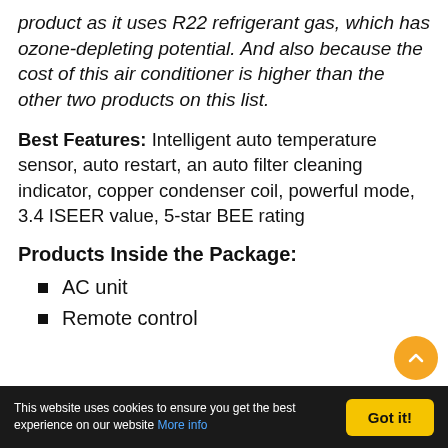product as it uses R22 refrigerant gas, which has ozone-depleting potential. And also because the cost of this air conditioner is higher than the other two products on this list.
Best Features: Intelligent auto temperature sensor, auto restart, an auto filter cleaning indicator, copper condenser coil, powerful mode, 3.4 ISEER value, 5-star BEE rating
Products Inside the Package:
AC unit
Remote control
This website uses cookies to ensure you get the best experience on our website More info | Got it!